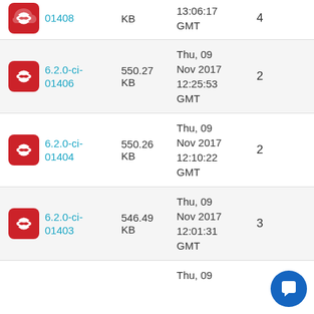| icon | version | size | date | count |
| --- | --- | --- | --- | --- |
| [icon] | 01408 | KB | 13:06:17 GMT | 4 |
| [icon] | 6.2.0-ci-01406 | 550.27 KB | Thu, 09 Nov 2017 12:25:53 GMT | 2 |
| [icon] | 6.2.0-ci-01404 | 550.26 KB | Thu, 09 Nov 2017 12:10:22 GMT | 2 |
| [icon] | 6.2.0-ci-01403 | 546.49 KB | Thu, 09 Nov 2017 12:01:31 GMT | 3 |
| [icon] |  |  | Thu, 09 |  |